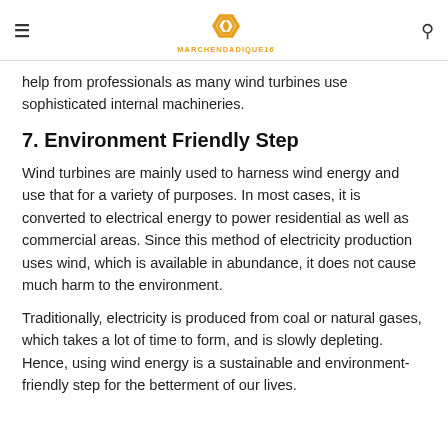MARCHENDADIQUE16
help from professionals as many wind turbines use sophisticated internal machineries.
7. Environment Friendly Step
Wind turbines are mainly used to harness wind energy and use that for a variety of purposes. In most cases, it is converted to electrical energy to power residential as well as commercial areas. Since this method of electricity production uses wind, which is available in abundance, it does not cause much harm to the environment.
Traditionally, electricity is produced from coal or natural gases, which takes a lot of time to form, and is slowly depleting. Hence, using wind energy is a sustainable and environment-friendly step for the betterment of our lives.